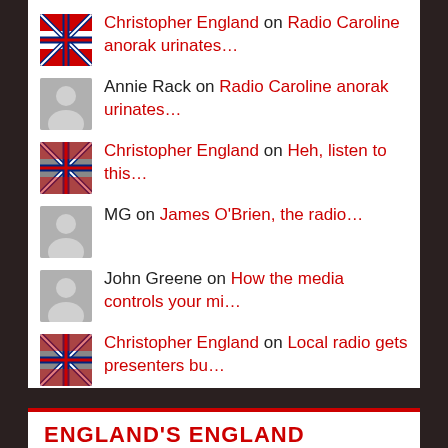Christopher England on Radio Caroline anorak urinates…
Annie Rack on Radio Caroline anorak urinates…
Christopher England on Heh, listen to this…
MG on James O'Brien, the radio…
John Greene on How the media controls your mi…
Christopher England on Local radio gets presenters bu…
ENGLAND'S ENGLAND ARCHIVES: